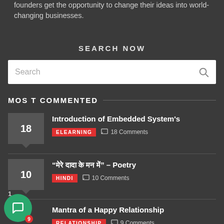founders get the opportunity to change their ideas into world-changing businesses.
SEARCH NOW
Search
MOST COMMENTED
Introduction of Embedded System's | ELEARNING | 18 Comments
“आजू ददादा के मन में” – Poetry | HINDI | 10 Comments
Mantra of a Happy Relationship | RELATIONSHIP | 9 Comments